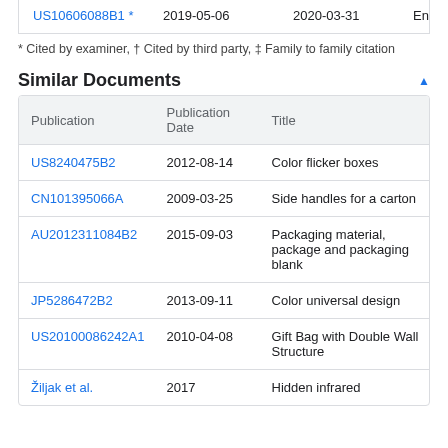|  |  |  |  |
| --- | --- | --- | --- |
| US10606088B1 * | 2019-05-06 | 2020-03-31 | En |
* Cited by examiner, † Cited by third party, ‡ Family to family citation
Similar Documents
| Publication | Publication Date | Title |
| --- | --- | --- |
| US8240475B2 | 2012-08-14 | Color flicker boxes |
| CN101395066A | 2009-03-25 | Side handles for a carton |
| AU2012311084B2 | 2015-09-03 | Packaging material, package and packaging blank |
| JP5286472B2 | 2013-09-11 | Color universal design |
| US20100086242A1 | 2010-04-08 | Gift Bag with Double Wall Structure |
| Žiljak et al. | 2017 | Hidden infrared |